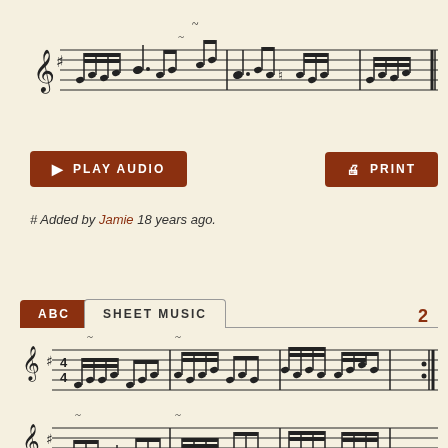[Figure (illustration): Sheet music notation showing a musical staff with treble clef, sharp key signature, and multiple notes with beams and flags — first line of music]
[Figure (illustration): Play Audio button (brown/red rectangle with play triangle icon) and Print button (brown/red rectangle with printer icon)]
# Added by Jamie 18 years ago.
[Figure (illustration): Tab selector with ABC and SHEET MUSIC tabs, number 2 on right, followed by two staves of sheet music in G major (one sharp), 4/4 time, showing multiple notes with beams, repeat signs]
[Figure (illustration): Third staff line of sheet music continuing the piece]